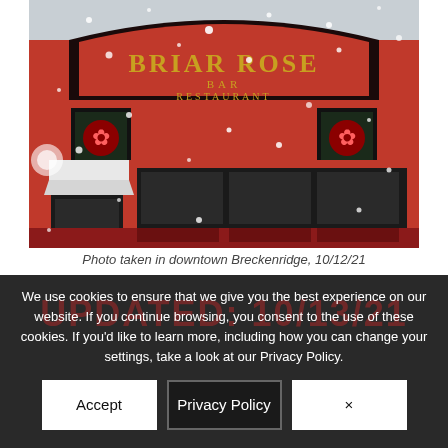[Figure (photo): Exterior of Briar Rose Bar & Restaurant in downtown Breckenridge during a snowstorm. The building facade is bright red with gold lettering spelling 'BRIAR ROSE BAR RESTAURANT'. Two decorative rose paintings in black frames flank the signage. Snow is falling heavily. The building has large dark windows and a white awning over the entrance on the left side.]
Photo taken in downtown Breckenridge, 10/12/21
UPDATED: 10/13/21
We use cookies to ensure that we give you the best experience on our website. If you continue browsing, you consent to the use of these cookies. If you'd like to learn more, including how you can change your settings, take a look at our Privacy Policy.